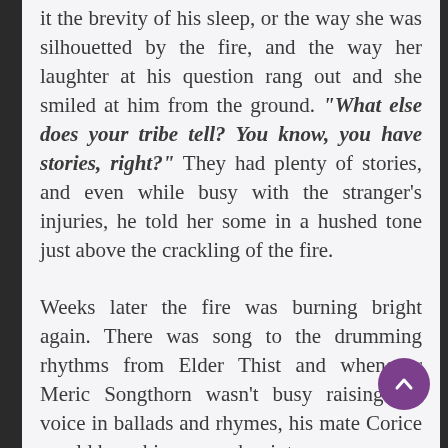it the brevity of his sleep, or the way she was silhouetted by the fire, and the way her laughter at his question rang out and she smiled at him from the ground. "What else does your tribe tell? You know, you have stories, right?" They had plenty of stories, and even while busy with the stranger's injuries, he told her some in a hushed tone just above the crackling of the fire.
Weeks later the fire was burning bright again. There was song to the drumming rhythms from Elder Thist and whenever Meric Songthorn wasn't busy raising his voice in ballads and rhymes, his mate Corice would have him sweep her into a